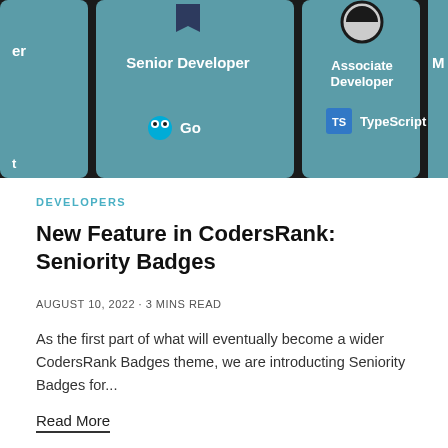[Figure (screenshot): Screenshot of a developer badge UI showing cards for 'Senior Developer' with Go language icon and 'Associate Developer' with TypeScript icon on a dark teal/green background. Partial cards visible on left and right edges.]
DEVELOPERS
New Feature in CodersRank: Seniority Badges
AUGUST 10, 2022 · 3 MINS READ
As the first part of what will eventually become a wider CodersRank Badges theme, we are introducting Seniority Badges for...
Read More